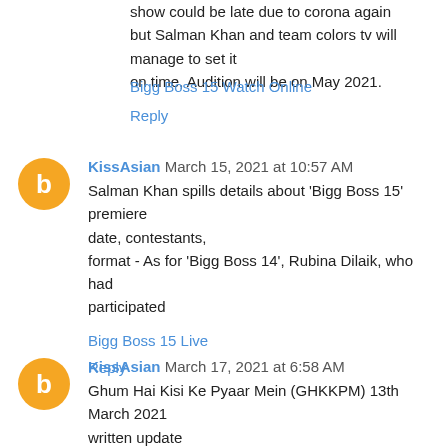show could be late due to corona again but Salman Khan and team colors tv will manage to set it on time, Audition will be on May 2021.
Bigg Boss 15 Watch Online
Reply
KissAsian March 15, 2021 at 10:57 AM
Salman Khan spills details about 'Bigg Boss 15' premiere date, contestants, format - As for 'Bigg Boss 14', Rubina Dilaik, who had participated
Bigg Boss 15 Live
Reply
KissAsian March 17, 2021 at 6:58 AM
Ghum Hai Kisi Ke Pyaar Mein (GHKKPM) 13th March 2021 written update